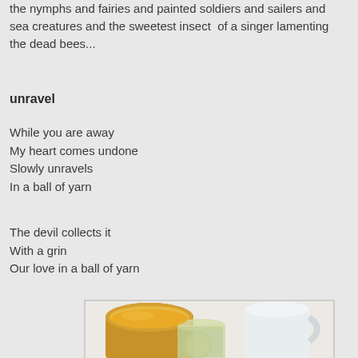the nymphs and fairies and painted soldiers and sailers and sea creatures and the sweetest insect  of a singer lamenting the dead bees...
unravel
While you are away
My heart comes undone
Slowly unravels
In a ball of yarn
The devil collects it
With a grin
Our love in a ball of yarn
[Figure (photo): Photo of honey or juice in glass jars and containers on a white cloth background]